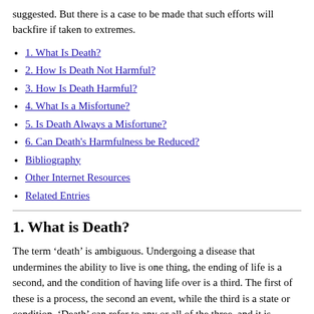suggested. But there is a case to be made that such efforts will backfire if taken to extremes.
1. What Is Death?
2. How Is Death Not Harmful?
3. How Is Death Harmful?
4. What Is a Misfortune?
5. Is Death Always a Misfortune?
6. Can Death's Harmfulness be Reduced?
Bibliography
Other Internet Resources
Related Entries
1. What is Death?
The term ‘death’ is ambiguous. Undergoing a disease that undermines the ability to live is one thing, the ending of life is a second, and the condition of having life over is a third. The first of these is a process, the second an event, while the third is a state or condition. ‘Death’ can refer to any or all of the three, and it is particularly easy to run the last two together. To avoid confusion, it helps to use the term death (or dying) for the event of life’s ending, the term being dead for the state in which life has ended, and